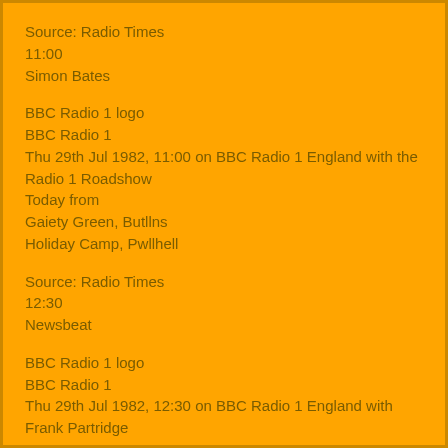Source: Radio Times
11:00
Simon Bates
BBC Radio 1 logo
BBC Radio 1
Thu 29th Jul 1982, 11:00 on BBC Radio 1 England with the Radio 1 Roadshow
Today from
Gaiety Green, Butllns
Holiday Camp, Pwllhell
Source: Radio Times
12:30
Newsbeat
BBC Radio 1 logo
BBC Radio 1
Thu 29th Jul 1982, 12:30 on BBC Radio 1 England with Frank Partridge
Contributors
Unknown:
Frank Partridge
Source: Radio Times
12:45
Dave Lee Travis